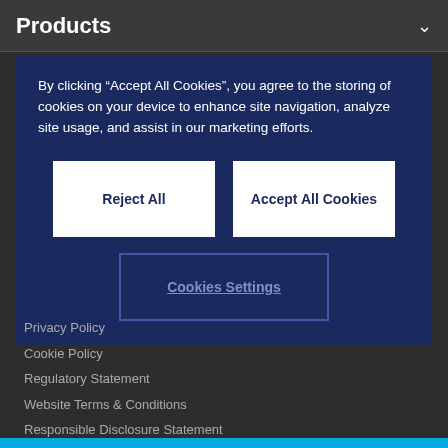Products
By clicking “Accept All Cookies”, you agree to the storing of cookies on your device to enhance site navigation, analyze site usage, and assist in our marketing efforts.
Reject All
Accept All Cookies
Cookies Settings
Privacy Policy
Cookie Policy
Regulatory Statement
Website Terms & Conditions
Responsible Disclosure Statement
© Copyright 2022 QBE European Operations plc. All rights reserved